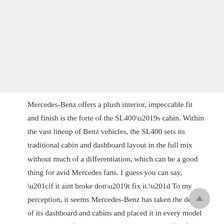[Figure (photo): Image placeholder area at the top of the page, appears as a light gray rectangle]
Mercedes-Benz offers a plush interior, impeccable fit and finish is the forte of the SL400’s cabin. Within the vast lineup of Benz vehicles, the SL400 sets its traditional cabin and dashboard layout in the full mix without much of a differentiation, which can be a good thing for avid Mercedes fans. I guess you can say, “if it aint broke don’t fix it.” To my perception, it seems Mercedes-Benz has taken the design of its dashboard and cabins and placed it in every model without many filters. Still, it works to the benefit of the SL400’s unique hard-top convertible sport-luxury mixed character.